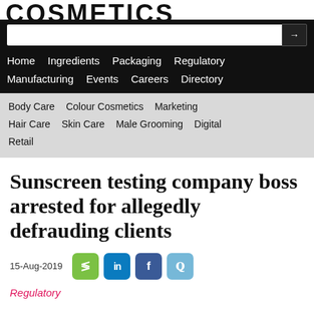COSMETICS BUSINESS
Search bar
Home   Ingredients   Packaging   Regulatory   Manufacturing   Events   Careers   Directory
Body Care   Colour Cosmetics   Marketing   Hair Care   Skin Care   Male Grooming   Digital   Retail
Sunscreen testing company boss arrested for allegedly defrauding clients
15-Aug-2019
Regulatory